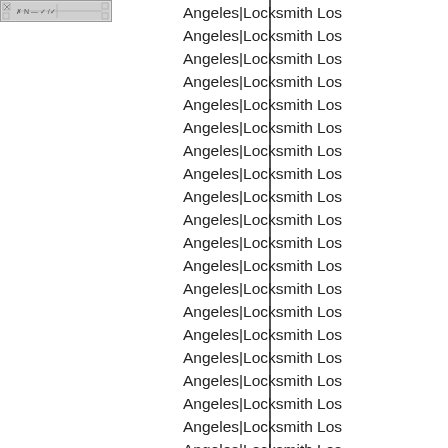[Figure (other): Small thumbnail image placeholder with resize handles]
Angeles|Locksmith Los
Angeles|Locksmith Los
Angeles|Locksmith Los
Angeles|Locksmith Los
Angeles|Locksmith Los
Angeles|Locksmith Los
Angeles|Locksmith Los
Angeles|Locksmith Los
Angeles|Locksmith Los
Angeles|Locksmith Los
Angeles|Locksmith Los
Angeles|Locksmith Los
Angeles|Locksmith Los
Angeles|Locksmith Los
Angeles|Locksmith Los
Angeles|Locksmith Los
Angeles|Locksmith Los
Angeles|Locksmith Los
Angeles|Locksmith Los
Angeles|Locksmith Los
Angeles|Locksmith Los
Angeles|Locksmith Los